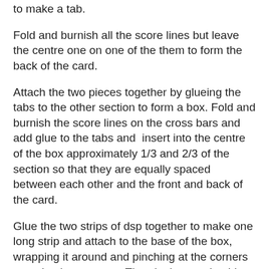to make a tab.
Fold and burnish all the score lines but leave the centre one on one of the them to form the back of the card.
Attach the two pieces together by glueing the tabs to the other section to form a box. Fold and burnish the score lines on the cross bars and add glue to the tabs and insert into the centre of the box approximately 1/3 and 2/3 of the section so that they are equally spaced between each other and the front and back of the card.
Glue the two strips of dsp together to make one long strip and attach to the base of the box, wrapping it around and pinching at the corners to make the creases. The aim is to make this look like a wooden window box. Overlap the ends and glue in place. Add the contrasting dsp panels to the three remaining flaps around the card.
Adhere the smaller piece of whisper white to the back of the card above the wooden dsp, this is the place to write the message.